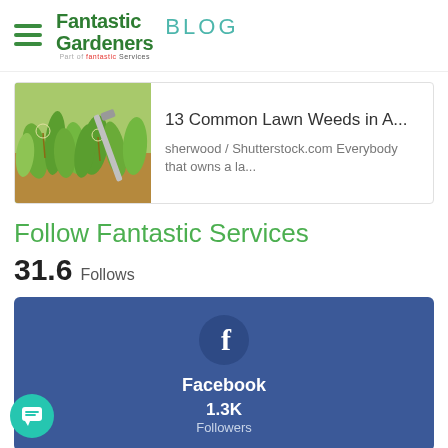Fantastic Gardeners BLOG
13 Common Lawn Weeds in A...
sherwood / Shutterstock.com Everybody that owns a la...
Follow Fantastic Services
31.6 Follows
Facebook
1.3K Followers
[Figure (other): Instagram icon circle partially visible at bottom]